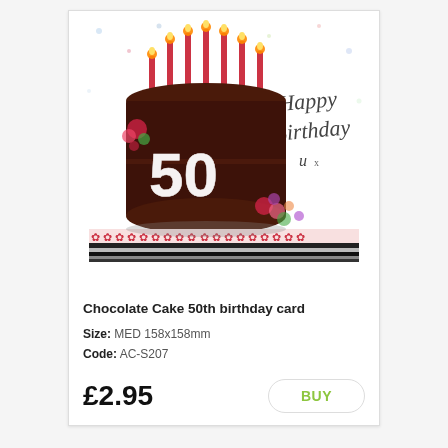[Figure (illustration): Birthday card showing a chocolate cake with candles and the number 50, with 'Happy Birthday' text]
Chocolate Cake 50th birthday card
Size: MED 158x158mm
Code: AC-S207
£2.95
BUY